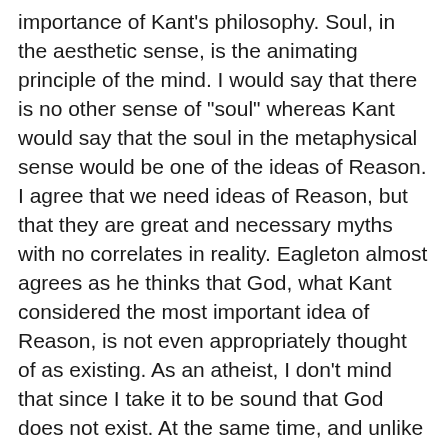importance of Kant's philosophy.  Soul, in the aesthetic sense, is the animating principle of the mind.  I would say that there is no other sense of "soul" whereas Kant would say that the soul in the metaphysical sense would be one of the ideas of Reason.  I agree that we need ideas of Reason, but that they are great and necessary myths with no correlates in reality.  Eagleton almost agrees as he thinks that God, what Kant considered the most important idea of Reason, is not even appropriately thought of as existing.  As an atheist, I don't mind that since I take it to be sound that God does not exist.  At the same time, and unlike Kant here, I am willing to see the idea of God as something like the transcendental ego, a transcendental (not a transcendent) necessity.
Back to section #49, we we find that a poem that goes beyond being merely pretty and elegant but has